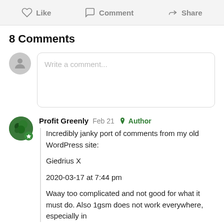Like  Comment  Share
8 Comments
Write a comment...
Profit Greenly  Feb 21  Author
Incredibly janky port of comments from my old WordPress site:
Giedrius X
2020-03-17 at 7:44 pm
Waay too complicated and not good for what it must do. Also 1gsm does not work everywhere, especially in